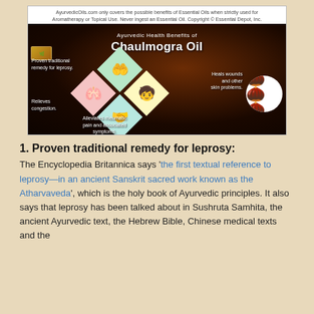[Figure (infographic): Infographic about Ayurvedic Health Benefits of Chaulmogra Oil showing four diamond-shaped panels: Proven traditional remedy for leprosy, Heals wounds and other skin problems, Relieves congestion, Alleviates rheumatic pain and associated symptoms. A bowl of seeds is shown on the right. Dark smoky background.]
1. Proven traditional remedy for leprosy:
The Encyclopedia Britannica says 'the first textual reference to leprosy—in an ancient Sanskrit sacred work known as the Atharvaveda', which is the holy book of Ayurvedic principles. It also says that leprosy has been talked about in Sushruta Samhita, the ancient Ayurvedic text, the Hebrew Bible, Chinese medical texts and the